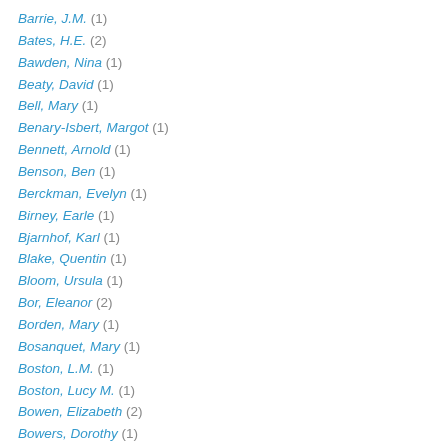Barrie, J.M. (1)
Bates, H.E. (2)
Bawden, Nina (1)
Beaty, David (1)
Bell, Mary (1)
Benary-Isbert, Margot (1)
Bennett, Arnold (1)
Benson, Ben (1)
Berckman, Evelyn (1)
Birney, Earle (1)
Bjarnhof, Karl (1)
Blake, Quentin (1)
Bloom, Ursula (1)
Bor, Eleanor (2)
Borden, Mary (1)
Bosanquet, Mary (1)
Boston, L.M. (1)
Boston, Lucy M. (1)
Bowen, Elizabeth (2)
Bowers, Dorothy (1)